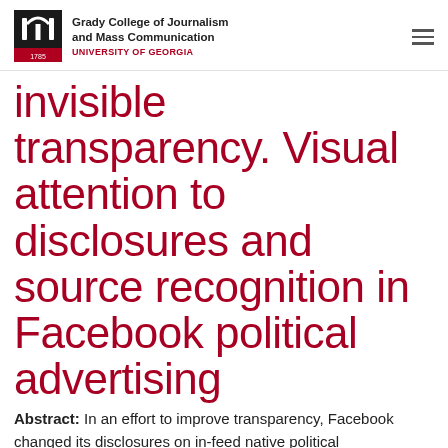Grady College of Journalism and Mass Communication — UNIVERSITY OF GEORGIA
invisible transparency. Visual attention to disclosures and source recognition in Facebook political advertising
Abstract: In an effort to improve transparency, Facebook changed its disclosures on in-feed native political advertisements in 2018 to include language that identifies who paid for the ad to appear. The present study (N = 120) utilized a between-participants eye-tracking experiment to assess the impact of three different disclosure conditions on Facebook